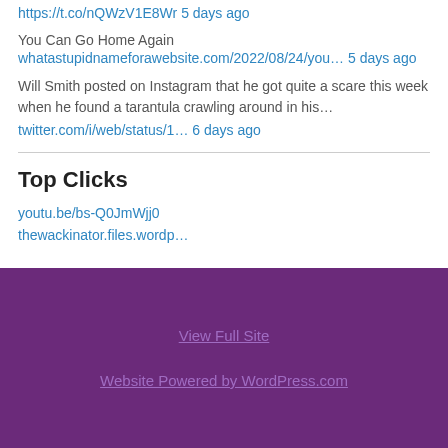https://t.co/nQWzV1E8Wr 5 days ago
You Can Go Home Again
whatastupidnameforawebsite.com/2022/08/24/you… 5 days ago
Will Smith posted on Instagram that he got quite a scare this week when he found a tarantula crawling around in his…
twitter.com/i/web/status/1… 6 days ago
Top Clicks
youtu.be/bs-Q0JmWjj0
thewackinator.files.wordp…
View Full Site
Website Powered by WordPress.com